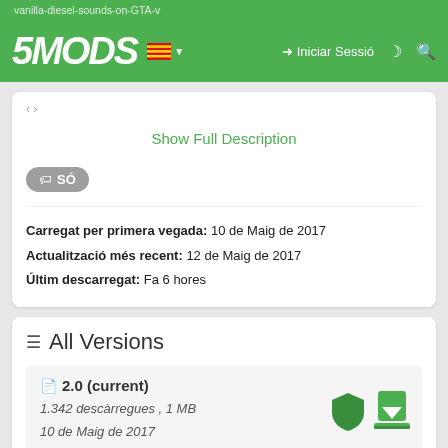5MODS | Iniciar Sessió
Show Full Description
SÓ
Carregat per primera vegada: 10 de Maig de 2017
Actualització més recent: 12 de Maig de 2017
Últim descarregat: Fa 6 hores
All Versions
2.0 (current)
1.342 descàrregues , 1 MB
10 de Maig de 2017
16 Comentaris